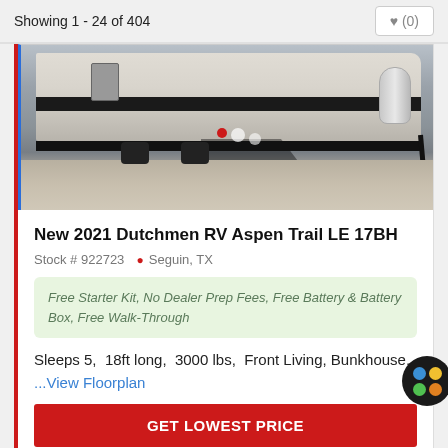Showing 1 - 24 of 404
[Figure (photo): Exterior photo of a travel trailer RV (Dutchmen Aspen Trail LE 17BH) parked outdoors on gravel, showing the side profile with propane tank, hitch, and awning hardware visible.]
New 2021 Dutchmen RV Aspen Trail LE 17BH
Stock # 922723  Seguin, TX
Free Starter Kit, No Dealer Prep Fees, Free Battery & Battery Box, Free Walk-Through
Sleeps 5,  18ft long,  3000 lbs,  Front Living, Bunkhouse,  ...View Floorplan
GET LOWEST PRICE